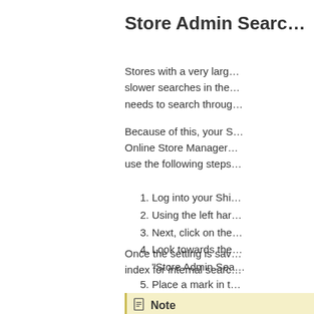Store Admin Searc…
Stores with a very larg… slower searches in the… needs to search throug…
Because of this, your S… Online Store Manager… use the following steps…
1. Log into your Shi…
2. Using the left har…
3. Next, click on the…
4. Look towards the… "Store Admin Sea…
5. Place a mark in t…
Once the setting is sav… index for internal searc…
Note